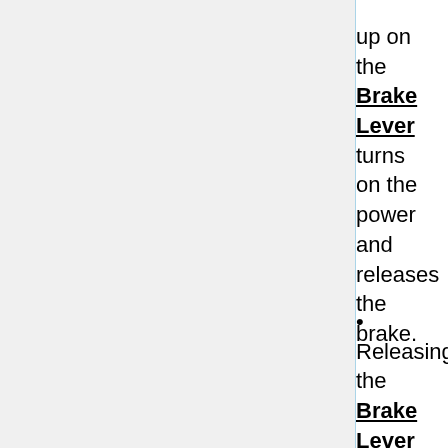up on the Brake Lever turns on the power and releases the brake.
Releasing the Brake Lever engages the lock and